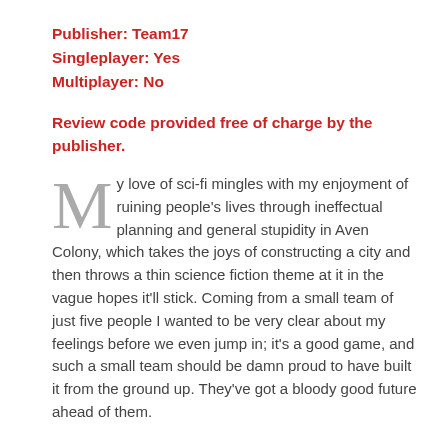Publisher: Team17
Singleplayer: Yes
Multiplayer: No
Review code provided free of charge by the publisher.
My love of sci-fi mingles with my enjoyment of ruining people's lives through ineffectual planning and general stupidity in Aven Colony, which takes the joys of constructing a city and then throws a thin science fiction theme at it in the vague hopes it'll stick. Coming from a small team of just five people I wanted to be very clear about my feelings before we even jump in; it's a good game, and such a small team should be damn proud to have built it from the ground up. They've got a bloody good future ahead of them.